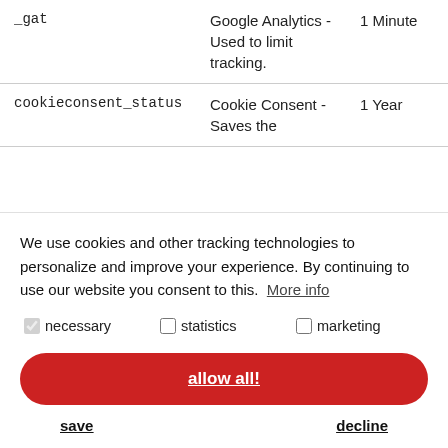| Name | Provider / Description | Expiry |
| --- | --- | --- |
| _gat | Google Analytics - Used to limit tracking. | 1 Minute |
| cookieconsent_status | Cookie Consent - Saves the | 1 Year |
We use cookies and other tracking technologies to personalize and improve your experience. By continuing to use our website you consent to this. More info
necessary  statistics  marketing
allow all!
save   decline